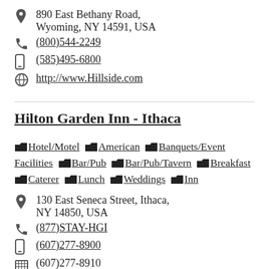890 East Bethany Road, Wyoming, NY 14591, USA
(800)544-2249
(585)495-6800
http://www.Hillside.com
Hilton Garden Inn - Ithaca
Hotel/Motel  American  Banquets/Event Facilities  Bar/Pub  Bar/Pub/Tavern  Breakfast  Caterer  Lunch  Weddings  Inn
130 East Seneca Street, Ithaca, NY 14850, USA
(877)STAY-HGI
(607)277-8900
(607)277-8910